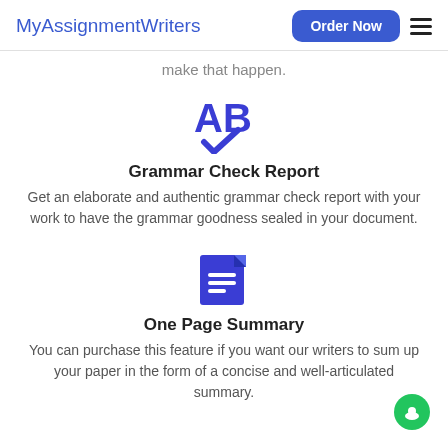MyAssignmentWriters
make that happen.
[Figure (logo): Grammar check icon: bold blue AB letters with a blue checkmark below]
Grammar Check Report
Get an elaborate and authentic grammar check report with your work to have the grammar goodness sealed in your document.
[Figure (logo): Blue document/page icon with white horizontal lines]
One Page Summary
You can purchase this feature if you want our writers to sum up your paper in the form of a concise and well-articulated summary.